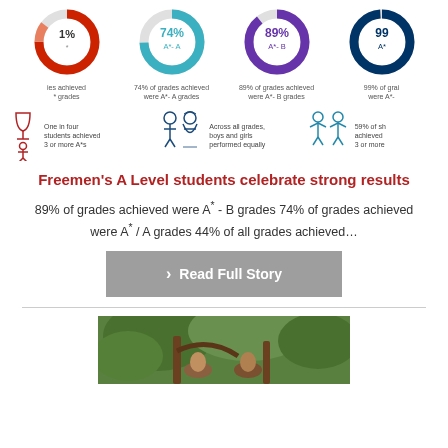[Figure (infographic): Four donut charts showing A-level grade statistics: first (red, partially cut off) shows some percentage of grades achieved A* grades; second (teal/blue) shows 74% A*-A grades; third (purple) shows 89% A*-B grades; fourth (dark blue, partially cut off) shows 99% A* grades]
[Figure (infographic): Three icon groups: 1) trophy/figure icon with text 'One in four students achieved 3 or more A*s'; 2) boy and girl icon with text 'Across all grades, boys and girls performed equally'; 3) two figures raising arms with text '59% of students achieved 3 or more']
Freemen's A Level students celebrate strong results
89% of grades achieved were A* - B grades 74% of grades achieved were A* / A grades 44% of all grades achieved...
Read Full Story